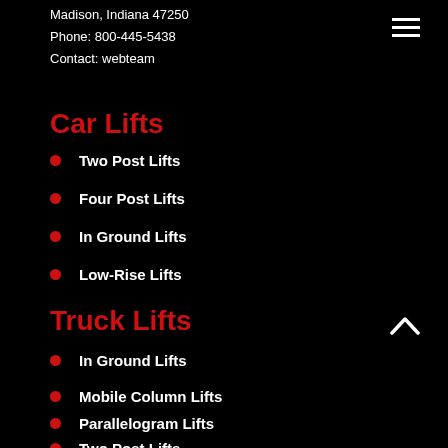Madison, Indiana 47250
Phone: 800-445-5438
Contact: webteam
Car Lifts
Two Post Lifts
Four Post Lifts
In Ground Lifts
Low-Rise Lifts
Truck Lifts
In Ground Lifts
Mobile Column Lifts
Parallelogram Lifts
Two Post Lifts